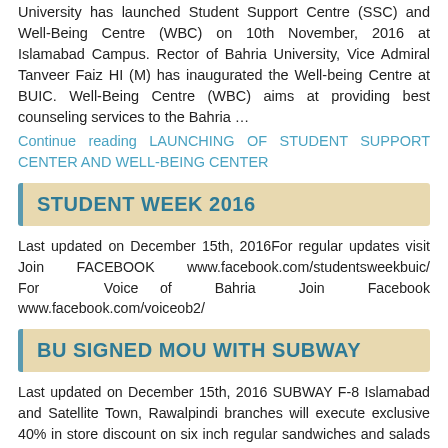University has launched Student Support Centre (SSC) and Well-Being Centre (WBC) on 10th November, 2016 at Islamabad Campus. Rector of Bahria University, Vice Admiral Tanveer Faiz HI (M) has inaugurated the Well-being Centre at BUIC. Well-Being Centre (WBC) aims at providing best counseling services to the Bahria …
Continue reading LAUNCHING OF STUDENT SUPPORT CENTER AND WELL-BEING CENTER
STUDENT WEEK 2016
Last updated on December 15th, 2016For regular updates visit Join FACEBOOK www.facebook.com/studentsweekbuic/ For Voice of Bahria Join Facebook www.facebook.com/voiceob2/
BU SIGNED MOU WITH SUBWAY
Last updated on December 15th, 2016 SUBWAY F-8 Islamabad and Satellite Town, Rawalpindi branches will execute exclusive 40% in store discount on six inch regular sandwiches and salads to Bahria University Alumni, Faculty and Students upon showing of Bahria University ID cards at